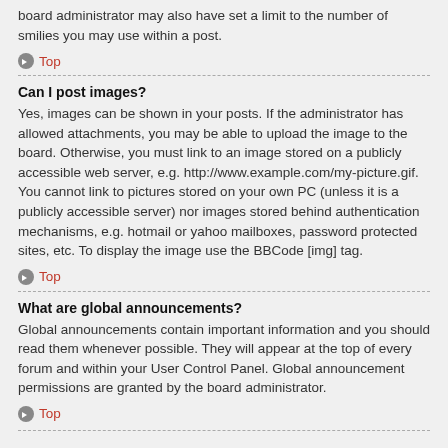board administrator may also have set a limit to the number of smilies you may use within a post.
Top
Can I post images?
Yes, images can be shown in your posts. If the administrator has allowed attachments, you may be able to upload the image to the board. Otherwise, you must link to an image stored on a publicly accessible web server, e.g. http://www.example.com/my-picture.gif. You cannot link to pictures stored on your own PC (unless it is a publicly accessible server) nor images stored behind authentication mechanisms, e.g. hotmail or yahoo mailboxes, password protected sites, etc. To display the image use the BBCode [img] tag.
Top
What are global announcements?
Global announcements contain important information and you should read them whenever possible. They will appear at the top of every forum and within your User Control Panel. Global announcement permissions are granted by the board administrator.
Top